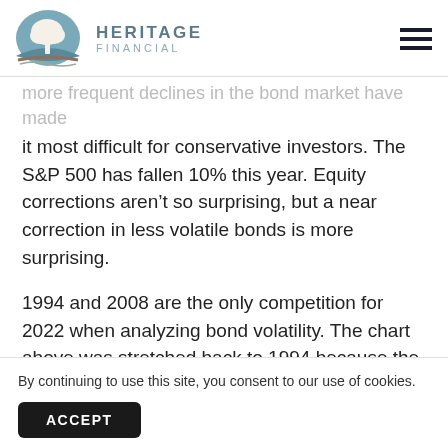HERITAGE FINANCIAL
more frequent declines in the bond market have made it most difficult for conservative investors. The S&P 500 has fallen 10% this year. Equity corrections aren't so surprising, but a near correction in less volatile bonds is more surprising.
1994 and 2008 are the only competition for 2022 when analyzing bond volatility. The chart above was stretched back to 1994 because the Fed increased ra... O... ra...
By continuing to use this site, you consent to our use of cookies.